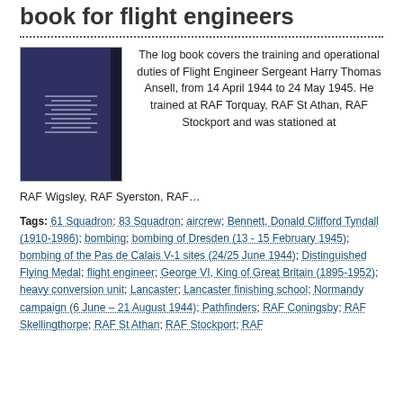book for flight engineers
[Figure (photo): Photograph of a small dark-covered log book]
The log book covers the training and operational duties of Flight Engineer Sergeant Harry Thomas Ansell, from 14 April 1944 to 24 May 1945. He trained at RAF Torquay, RAF St Athan, RAF Stockport and was stationed at RAF Wigsley, RAF Syerston, RAF…
Tags: 61 Squadron; 83 Squadron; aircrew; Bennett, Donald Clifford Tyndall (1910-1986); bombing; bombing of Dresden (13 - 15 February 1945); bombing of the Pas de Calais V-1 sites (24/25 June 1944); Distinguished Flying Medal; flight engineer; George VI, King of Great Britain (1895-1952); heavy conversion unit; Lancaster; Lancaster finishing school; Normandy campaign (6 June – 21 August 1944); Pathfinders; RAF Coningsby; RAF Skellingthorpe; RAF St Athan; RAF Stockport; RAF